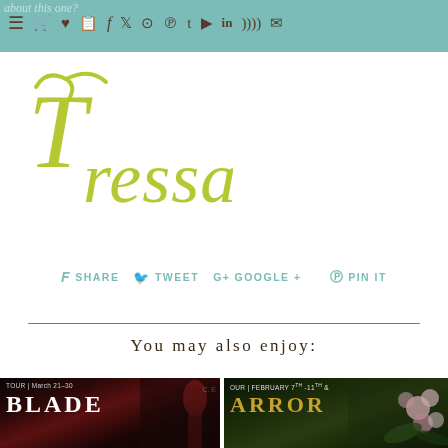about this one?
[Figure (logo): Tressa blog logo in yellow-green cursive script]
f SHARE   TWEET   G+ GOOGLE +   PIN IT
You may also enjoy:
[Figure (photo): Book tour cover image - TOUR | March 21-30, title showing BLADE, dark fantasy cover]
[Figure (photo): Book tour cover image - TOUR | FEBRUARY 7TH-11TH &, title showing ARROR, floral cover with pink flowers]